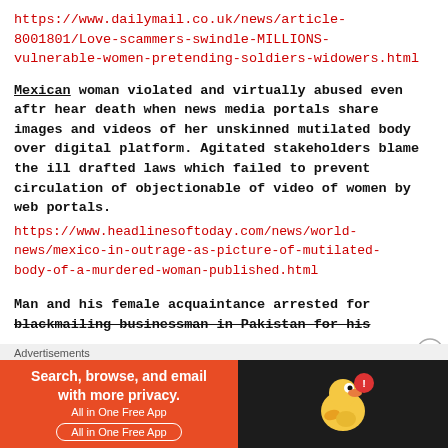https://www.dailymail.co.uk/news/article-8001801/Love-scammers-swindle-MILLIONS-vulnerable-women-pretending-soldiers-widowers.html
Mexican woman violated and virtually abused even aftr hear death when news media portals share images and videos of her unskinned mutilated body over digital platform. Agitated stakeholders blame the ill drafted laws which failed to prevent circulation of objectionable of video of women by web portals.
https://www.headlinesoftoday.com/news/world-news/mexico-in-outrage-as-picture-of-mutilated-body-of-a-murdered-woman-published.html
Man and his female acquaintance arrested for blackmailing businessman in Pakistan for his
Advertisements
[Figure (other): DuckDuckGo advertisement banner: orange background on left with text 'Search, browse, and email with more privacy. All in One Free App' and a button, dark background on right with DuckDuckGo duck logo]